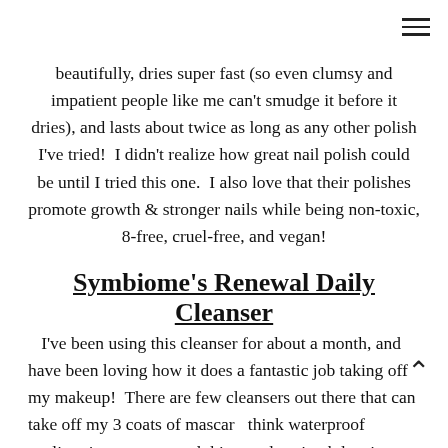beautifully, dries super fast (so even clumsy and impatient people like me can't smudge it before it dries), and lasts about twice as long as any other polish I've tried!  I didn't realize how great nail polish could be until I tried this one.  I also love that their polishes promote growth & stronger nails while being non-toxic, 8-free, cruel-free, and vegan!
Symbiome's Renewal Daily Cleanser
I've been using this cleanser for about a month, and have been loving how it does a fantastic job taking off my makeup!  There are few cleansers out there that can take off my 3 coats of mascar think waterproof eyeliner in one go… and this one does it wh leaving my skin clean and soft.  The brand is also pretty fantastic… it focuses heavily on using science & plants to create powerful yet natural products that provide the skin with nutrients it's missing